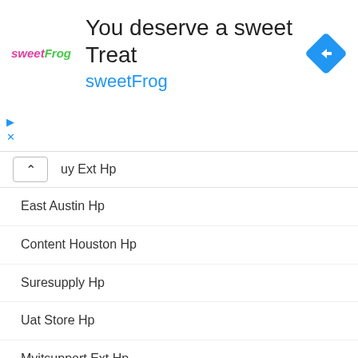[Figure (infographic): sweetFrog advertisement banner with logo, title 'You deserve a sweet Treat', subtitle 'sweetFrog', and navigation diamond icon]
uy Ext Hp
East Austin Hp
Content Houston Hp
Suresupply Hp
Uat Store Hp
Myitsupport Ext Hp
Batteryprogram687 Ext Hp
Sawpro Atlanta Hp
Whp-Aus2 Cold Extweb Hp
Hp-Shop De
Printables Hp